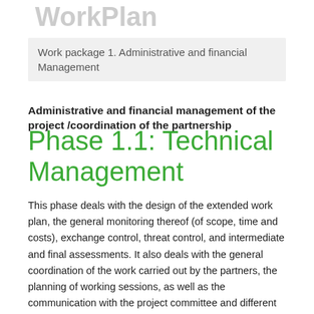WorkPlan
Work package 1. Administrative and financial Management
Administrative and financial management of the project /coordination of the partnership
Phase 1.1: Technical Management
This phase deals with the design of the extended work plan, the general monitoring thereof (of scope, time and costs), exchange control, threat control, and intermediate and final assessments. It also deals with the general coordination of the work carried out by the partners, the planning of working sessions, as well as the communication with the project committee and different programme authorities. It is performed by the Project Coordinator (PC) appointed by the LP.